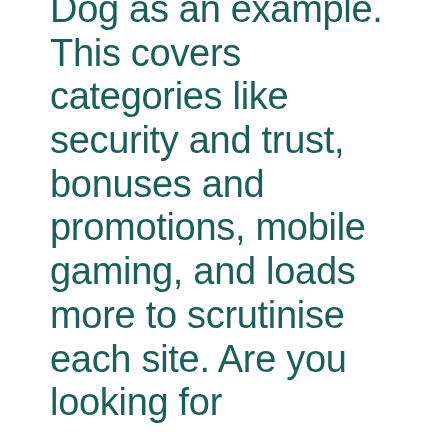Dog as an example. This covers categories like security and trust, bonuses and promotions, mobile gaming, and loads more to scrutinise each site. Are you looking for